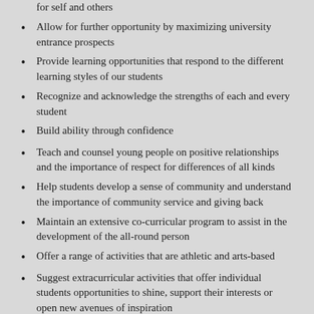for self and others
Allow for further opportunity by maximizing university entrance prospects
Provide learning opportunities that respond to the different learning styles of our students
Recognize and acknowledge the strengths of each and every student
Build ability through confidence
Teach and counsel young people on positive relationships and the importance of respect for differences of all kinds
Help students develop a sense of community and understand the importance of community service and giving back
Maintain an extensive co-curricular program to assist in the development of the all-round person
Offer a range of activities that are athletic and arts-based
Suggest extracurricular activities that offer individual students opportunities to shine, support their interests or open new avenues of inspiration